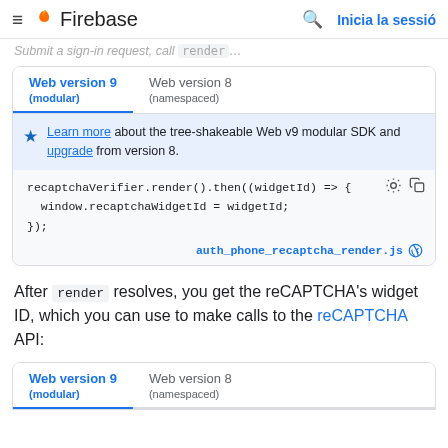≡ Firebase — Inicia la sessió
Submit a sign-in request, call render… (truncated)
Web version 9 (modular) | Web version 8 (namespaced)
Learn more about the tree-shakeable Web v9 modular SDK and upgrade from version 8.
recaptchaVerifier.render().then((widgetId) => {
  window.recaptchaWidgetId = widgetId;
});
auth_phone_recaptcha_render.js
After render resolves, you get the reCAPTCHA's widget ID, which you can use to make calls to the reCAPTCHA API:
Web version 9 (modular) | Web version 8 (namespaced)